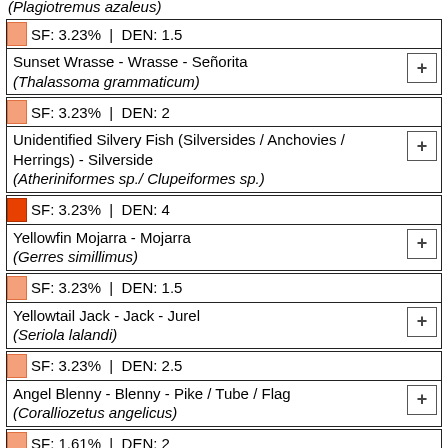(Plagiotremus azaleus)
SF: 3.23% | DEN: 1.5 — Sunset Wrasse - Wrasse - Señorita (Thalassoma grammaticum)
SF: 3.23% | DEN: 2 — Unidentified Silvery Fish (Silversides / Anchovies / Herrings) - Silverside (Atheriniformes sp./ Clupeiformes sp.)
SF: 3.23% | DEN: 4 — Yellowfin Mojarra - Mojarra (Gerres simillimus)
SF: 3.23% | DEN: 1.5 — Yellowtail Jack - Jack - Jurel (Seriola lalandi)
SF: 3.23% | DEN: 2.5 — Angel Blenny - Blenny - Pike / Tube / Flag (Coralliozetus angelicus)
SF: 1.61% | DEN: 2 — Bullseye Puffer - Puffer (Sphoeroides annulatus)
SF: 1.61% | DEN: 1